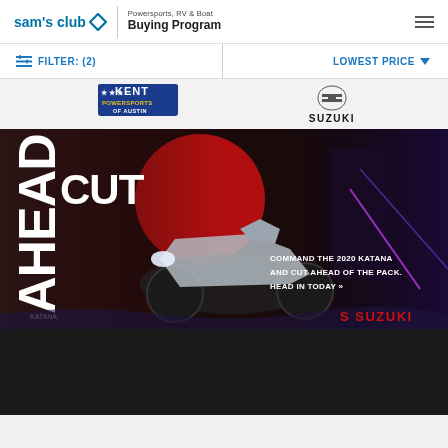sam's club — Powersports, RV & Boat Buying Program
FILTER: (2)
LOWEST PRICE
[Figure (logo): Kent Powersports of Austin logo]
[Figure (logo): Suzuki logo with S emblem and SUZUKI text]
[Figure (photo): Suzuki Katana 2020 advertisement banner reading CUT AHEAD. COMMAND THE 2020 KATANA AND CUT AHEAD OF THE PACK. HEAD IN TODAY. Shows motorcycle rider on Suzuki Katana with Japanese-inspired background and cyberpunk elements. KATANA and SUZUKI branding visible.]
[Figure (photo): Dark background area continuing below the Katana advertisement]